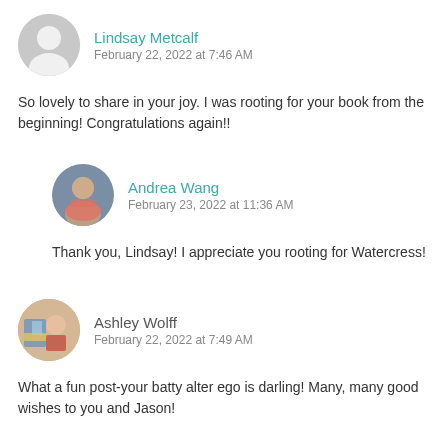[Figure (illustration): Generic user avatar circle placeholder (grey silhouette)]
Lindsay Metcalf
February 22, 2022 at 7:46 AM
So lovely to share in your joy. I was rooting for your book from the beginning! Congratulations again!!
[Figure (photo): Round profile photo of Andrea Wang, a woman smiling wearing an orange scarf]
Andrea Wang
February 23, 2022 at 11:36 AM
Thank you, Lindsay! I appreciate you rooting for Watercress!
[Figure (photo): Round profile photo of Ashley Wolff, a woman with books in background]
Ashley Wolff
February 22, 2022 at 7:49 AM
What a fun post-your batty alter ego is darling! Many, many good wishes to you and Jason!